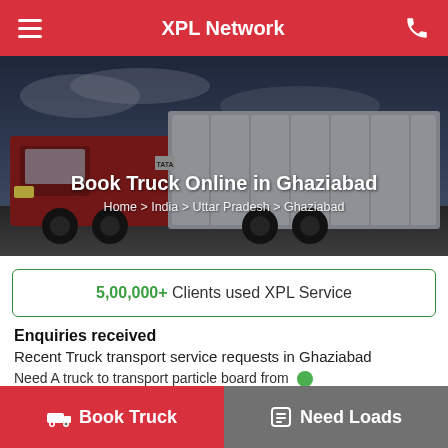XPL Network
[Figure (screenshot): Hero image of a TATA truck on a road with dark sky, overlaid with title text and breadcrumb navigation]
Book Truck Online in Ghaziabad
Home > India > Uttar Pradesh > Ghaziabad
5,00,000+ Clients used XPL Service
Enquiries received
Recent Truck transport service requests in Ghaziabad
Need A truck to transport particle board from
Book Truck
Need Loads